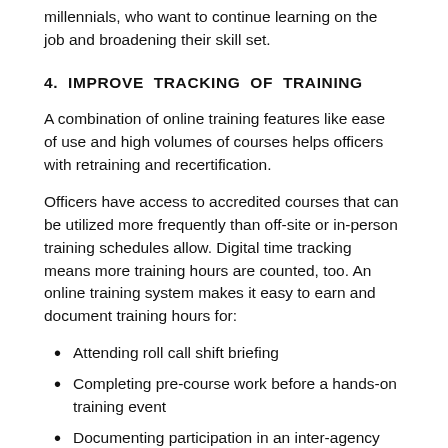millennials, who want to continue learning on the job and broadening their skill set.
4. IMPROVE TRACKING OF TRAINING
A combination of online training features like ease of use and high volumes of courses helps officers with retraining and recertification.
Officers have access to accredited courses that can be utilized more frequently than off-site or in-person training schedules allow. Digital time tracking means more training hours are counted, too. An online training system makes it easy to earn and document training hours for:
Attending roll call shift briefing
Completing pre-course work before a hands-on training event
Documenting participation in an inter-agency training